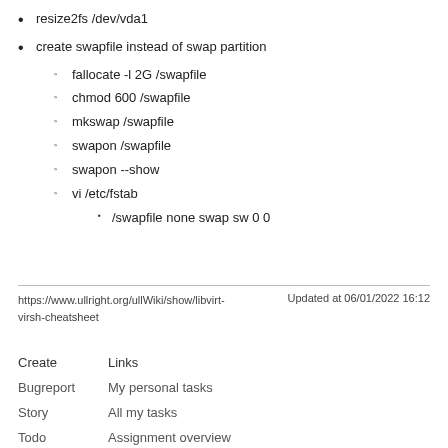resize2fs /dev/vda1
create swapfile instead of swap partition
fallocate -l 2G /swapfile
chmod 600 /swapfile
mkswap /swapfile
swapon /swapfile
swapon --show
vi /etc/fstab
/swapfile none swap sw 0 0
https://www.ullright.org/ullWiki/show/libvirt-virsh-cheatsheet    Updated at 06/01/2022 16:12
| Create | Links |
| --- | --- |
| Bugreport | My personal tasks |
| Story | All my tasks |
| Todo | Assignment overview |